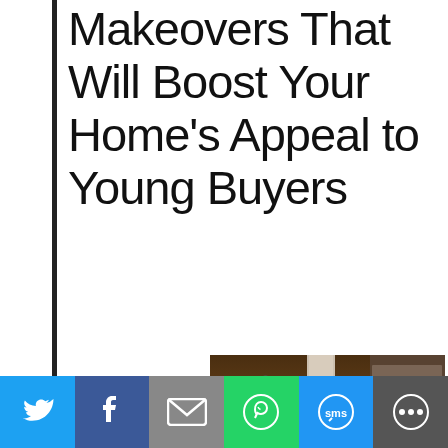Makeovers That Will Boost Your Home's Appeal to Young Buyers
[Figure (photo): Outdoor covered patio with stone fireplace, ceiling fan, flat screen TV mounted on stone wall, and patio furniture with cushions at dusk]
When preparing to list your home for sale, you may be
[Figure (infographic): Social share bar with Twitter, Facebook, Email, WhatsApp, SMS, and other sharing icons]